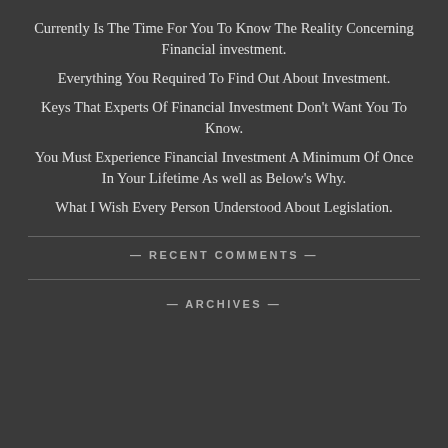Currently Is The Time For You To Know The Reality Concerning Financial investment.
Everything You Required To Find Out About Investment.
Keys That Experts Of Financial Investment Don't Want You To Know.
You Must Experience Financial Investment A Minimum Of Once In Your Lifetime As well as Below's Why.
What I Wish Every Person Understood About Legislation.
— RECENT COMMENTS —
— ARCHIVES —